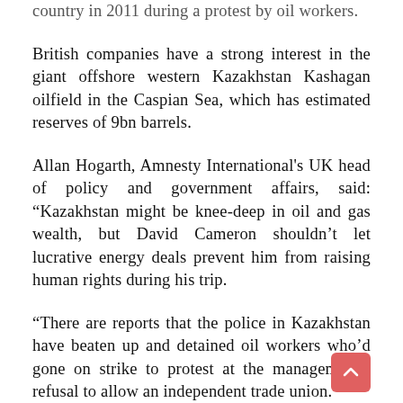country in 2011 during a protest by oil workers.
British companies have a strong interest in the giant offshore western Kazakhstan Kashagan oilfield in the Caspian Sea, which has estimated reserves of 9bn barrels.
Allan Hogarth, Amnesty International's UK head of policy and government affairs, said: “Kazakhstan might be knee-deep in oil and gas wealth, but David Cameron shouldn’t let lucrative energy deals prevent him from raising human rights during his trip.
“There are reports that the police in Kazakhstan have beaten up and detained oil workers who'd gone on strike to protest at the management’s refusal to allow an independent trade union.”